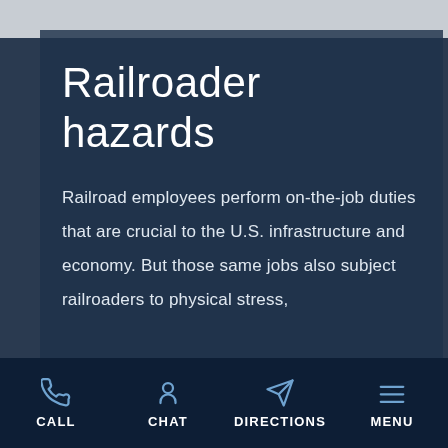Railroader hazards
Railroad employees perform on-the-job duties that are crucial to the U.S. infrastructure and economy. But those same jobs also subject railroaders to physical stress,
CALL  CHAT  DIRECTIONS  MENU